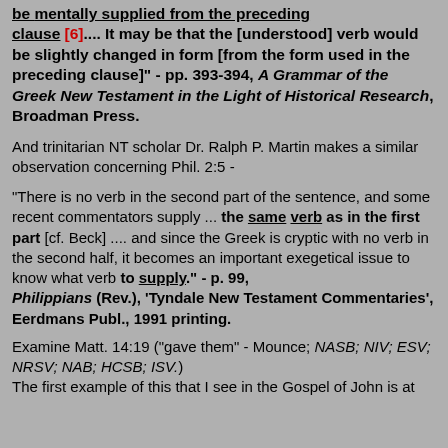be mentally supplied from the preceding clause [6].... It may be that the [understood] verb would be slightly changed in form [from the form used in the preceding clause]" - pp. 393-394, A Grammar of the Greek New Testament in the Light of Historical Research, Broadman Press.
And trinitarian NT scholar Dr. Ralph P. Martin makes a similar observation concerning Phil. 2:5 -
"There is no verb in the second part of the sentence, and some recent commentators supply ... the same verb as in the first part [cf. Beck] .... and since the Greek is cryptic with no verb in the second half, it becomes an important exegetical issue to know what verb to supply." - p. 99, Philippians (Rev.), 'Tyndale New Testament Commentaries', Eerdmans Publ., 1991 printing.
Examine Matt. 14:19 ("gave them" - Mounce; NASB; NIV; ESV; NRSV; NAB; HCSB; ISV.) The first example of this that I see in the Gospel of John is at